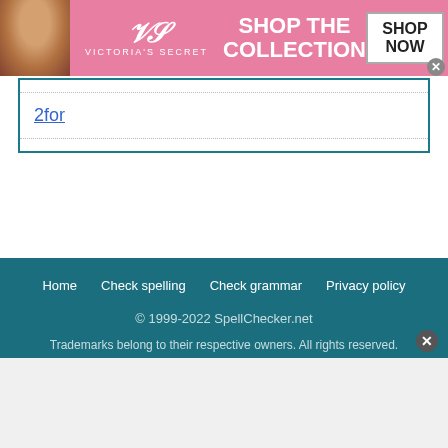[Figure (illustration): Victoria's Secret advertisement banner with a woman's photo on the left, VS logo in the center, 'SHOP THE COLLECTION' text, and a 'SHOP NOW' button on pink background]
2for
Home   Check spelling   Check grammar   Privacy policy
© 1999-2022 SpellChecker.net
Trademarks belong to their respective owners. All rights reserved.
SpellChecker.net, Inc., 2720 3rd Ave #1004, Seattle, WA 98121, United States